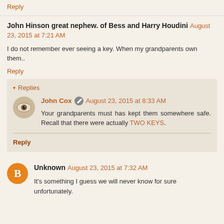Reply
John Hinson great nephew. of Bess and Harry Houdini  August 23, 2015 at 7:21 AM
I do not remember ever seeing a key. When my grandparents own them..
Reply
Replies
John Cox  August 23, 2015 at 8:33 AM
Your grandparents must has kept them somewhere safe. Recall that there were actually TWO KEYS.
Reply
Unknown  August 23, 2015 at 7:32 AM
It's something I guess we will never know for sure unfortunately.